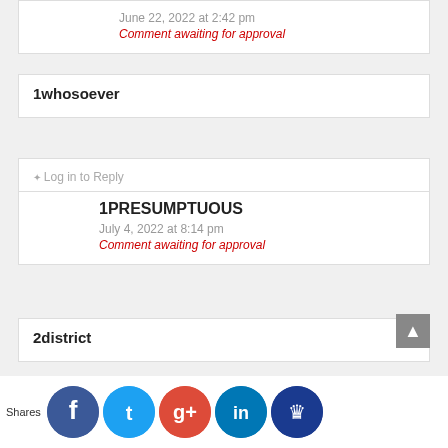June 22, 2022 at 2:42 pm
Comment awaiting for approval
1whosoever
Log in to Reply
1PRESUMPTUOUS
July 4, 2022 at 8:14 pm
Comment awaiting for approval
2district
Log in to Reply
BEST DISSERTATION WRITING
y 5, 2022 at :16 am
mment awaiting for approval
Shares